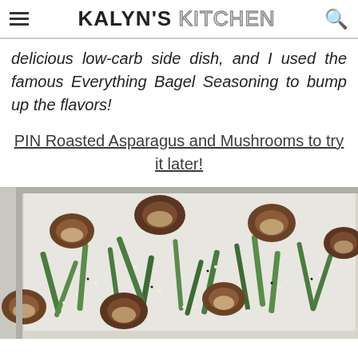KALYN'S KITCHEN
delicious low-carb side dish, and I used the famous Everything Bagel Seasoning to bump up the flavors!
PIN Roasted Asparagus and Mushrooms to try it later!
[Figure (photo): A baking sheet pan with roasted asparagus spears and sliced mushrooms, sprinkled with Everything Bagel Seasoning, photographed from above at an angle.]